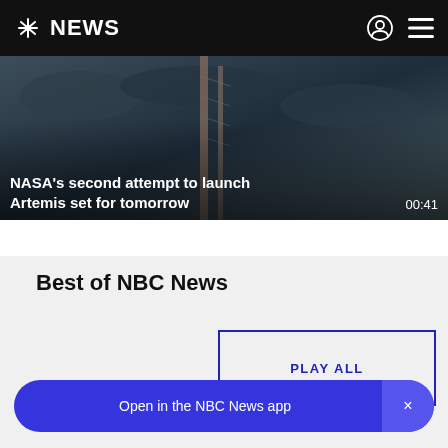NBC NEWS
[Figure (screenshot): Hero video thumbnail showing rocket/launch structure with dark cloudy sky background]
NASA's second attempt to launch Artemis set for tomorrow
00:41
Best of NBC News
PLAY ALL
Open in the NBC News app